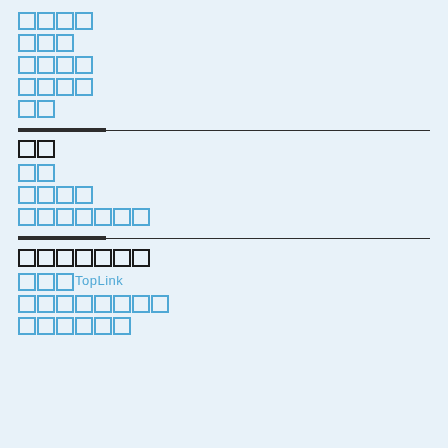□□□□
□□□
□□□□
□□□□
□□
□□
□□
□□□□
□□□□□□□
□□□□□□□
□□□TopLink
□□□□□□□□
□□□□□□